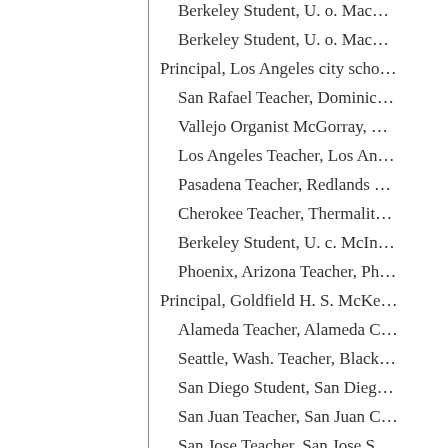Berkeley Student, U. o. Mac…
Berkeley Student, U. o. Mac…
Principal, Los Angeles city scho…
San Rafael Teacher, Dominic…
Vallejo Organist McGorray, …
Los Angeles Teacher, Los An…
Pasadena Teacher, Redlands …
Cherokee Teacher, Thermalit…
Berkeley Student, U. c. McIn…
Phoenix, Arizona Teacher, Ph…
Principal, Goldfield H. S. McKe…
Alameda Teacher, Alameda C…
Seattle, Wash. Teacher, Black…
San Diego Student, San Dieg…
San Juan Teacher, San Juan C…
San Jose Teacher, San Jose S…
Berkeley McKoon, Hosmer …
Berkeley Minister MacLauri…